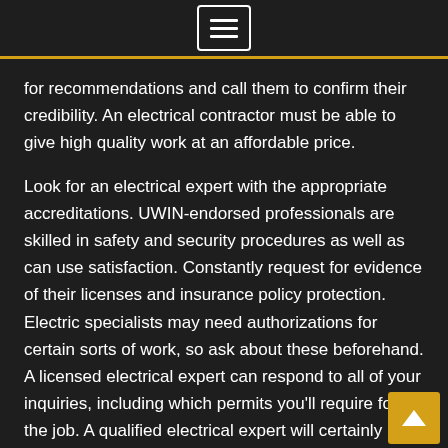[Figure (other): Hamburger menu button icon with three horizontal lines inside a rounded rectangle border]
for recommendations and call them to confirm their credibility. An electrical contractor must be able to give high quality work at an affordable price.
Look for an electrical expert with the appropriate accreditations. UWIN-endorsed professionals are skilled in safety and security procedures as well as can use satisfaction. Constantly request for evidence of their licenses and insurance policy protection. Electric specialists may need authorizations for certain sorts of work, so ask about these beforehand. A licensed electrical expert can respond to all of your inquiries, including which permits you'll require for the job. A qualified electrical expert will certainly additionally have the ability to aid you with any